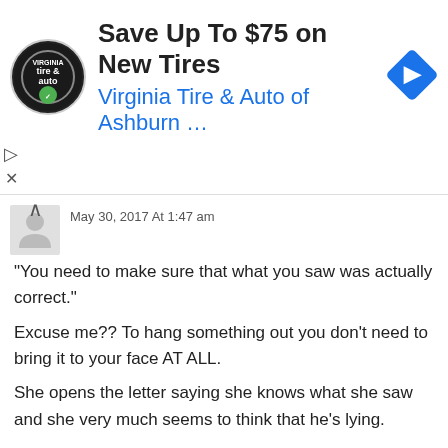[Figure (screenshot): Advertisement banner for Virginia Tire & Auto of Ashburn with logo, title 'Save Up To $75 on New Tires', subtitle 'Virginia Tire & Auto of Ashburn …', and a blue diamond navigation arrow icon on the right.]
May 30, 2017 At 1:47 am
“You need to make sure that what you saw was actually correct.” Excuse me?? To hang something out you don’t need to bring it to your face AT ALL. She opens the letter saying she knows what she saw and she very much seems to think that he’s lying.

If she already has that conviction, next step should be talking to her daughter. Not in an accusatory way but ask her the question and if she says it happened, believe her. Not him. This is not the kind of chance you want to take with your child,